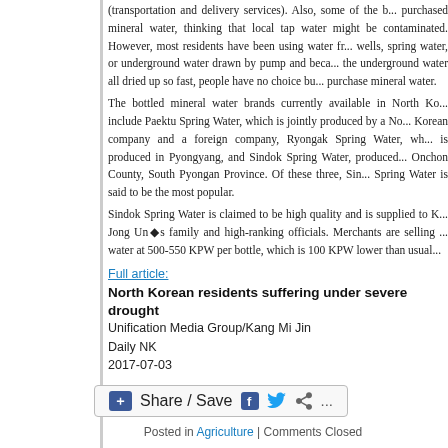(transportation and delivery services). Also, some of the purchased mineral water, thinking that local tap water might be contaminated. However, most residents have been using water from wells, spring water, or underground water drawn by pump and because the underground water all dried up so fast, people have no choice but to purchase mineral water.
The bottled mineral water brands currently available in North Korea include Paektu Spring Water, which is jointly produced by a North Korean company and a foreign company, Ryongak Spring Water, which is produced in Pyongyang, and Sindok Spring Water, produced in Onchon County, South Pyongan Province. Of these three, Sindok Spring Water is said to be the most popular.
Sindok Spring Water is claimed to be high quality and is supplied to Kim Jong Un◆s family and high-ranking officials. Merchants are selling this water at 500-550 KPW per bottle, which is 100 KPW lower than usual.
Full article:
North Korean residents suffering under severe drought
Unification Media Group/Kang Mi Jin
Daily NK
2017-07-03
[Figure (other): Share / Save social sharing button bar with Facebook, Twitter, and share icons]
Posted in Agriculture | Comments Closed